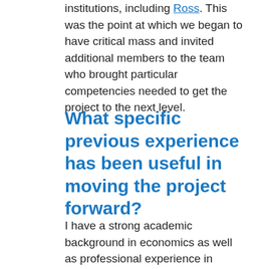institutions, including Ross. This was the point at which we began to have critical mass and invited additional members to the team who brought particular competencies needed to get the project to the next level.
What specific previous experience has been useful in moving the project forward?
I have a strong academic background in economics as well as professional experience in corporate banking. I managed many investments in this role and worked with